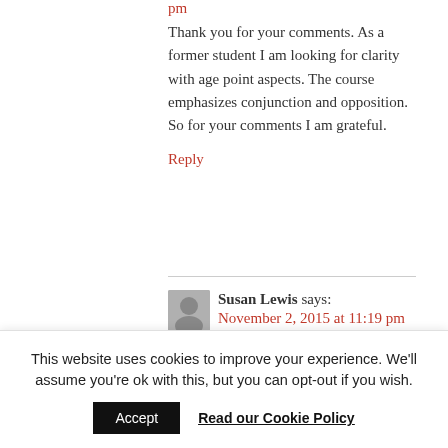pm
Thank you for your comments. As a former student I am looking for clarity with age point aspects. The course emphasizes conjunction and opposition. So for your comments I am grateful.
Reply
Susan Lewis says: November 2, 2015 at 11:19 pm
I certainly agree with Joyce that
This website uses cookies to improve your experience. We'll assume you're ok with this, but you can opt-out if you wish.
Accept
Read our Cookie Policy